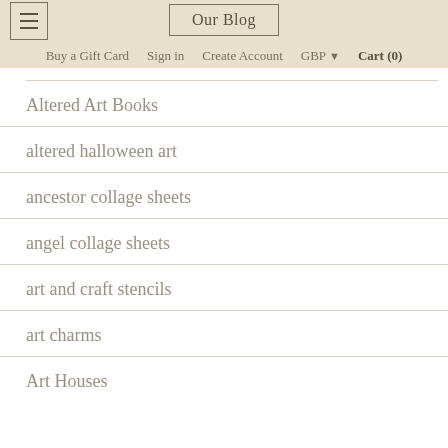Our Blog | Buy a Gift Card  Sign in  Create Account  GBP  Cart (0)
Altered Art Books
altered halloween art
ancestor collage sheets
angel collage sheets
art and craft stencils
art charms
Art Houses